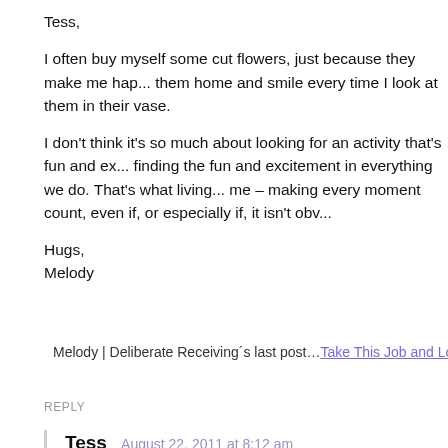Tess,
I often buy myself some cut flowers, just because they make me hap... them home and smile every time I look at them in their vase.
I don't think it's so much about looking for an activity that's fun and ex... finding the fun and excitement in everything we do. That's what living... me – making every moment count, even if, or especially if, it isn't obv...
Hugs,
Melody
Melody | Deliberate Receiving´s last post…Take This Job and Love
REPLY
Tess  August 22, 2011 at 8:12 am
Hi Melody,
I love what bold means to you. A while ago I wrote a quest post o... the words. 'I have to'…to 'I get to.' When I remember to look at ev... that I do find fun and joy in all I do. It's that perspective of mine th... once in a while.